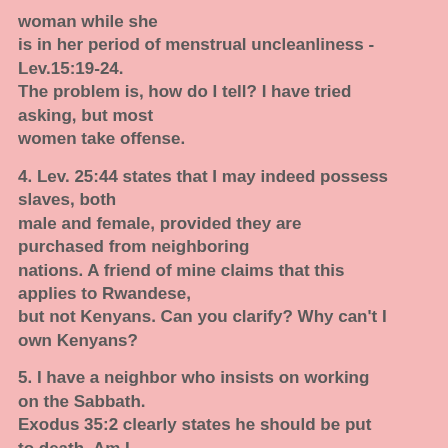woman while she is in her period of menstrual uncleanliness - Lev.15:19-24.
The problem is, how do I tell? I have tried asking, but most women take offense.
4. Lev. 25:44 states that I may indeed possess slaves, both male and female, provided they are purchased from neighboring nations. A friend of mine claims that this applies to Rwandese, but not Kenyans. Can you clarify? Why can't I own Kenyans?
5. I have a neighbor who insists on working on the Sabbath. Exodus 35:2 clearly states he should be put to death. Am I morally obligated to kill him myself?